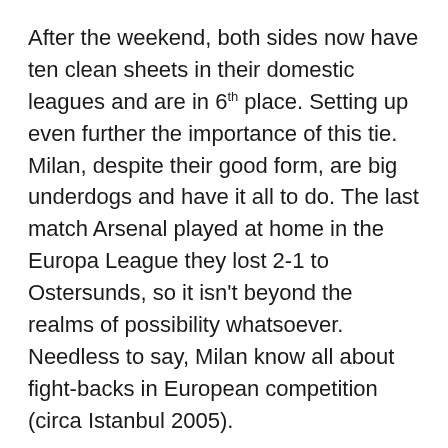After the weekend, both sides now have ten clean sheets in their domestic leagues and are in 6th place. Setting up even further the importance of this tie. Milan, despite their good form, are big underdogs and have it all to do. The last match Arsenal played at home in the Europa League they lost 2-1 to Ostersunds, so it isn't beyond the realms of possibility whatsoever. Needless to say, Milan know all about fight-backs in European competition (circa Istanbul 2005).
Taking charge of this match will be Jonas Eriksson. The Swedish referee plies his trade in the Allvenskan and has amassed a career record of 24 red cards and 512 yellows, at an average of 0.17 and 3.68 per game respectively in his 139 matches. Fun fact, Eriksson is a multi-millionaire by virtue of selling his 15% stake in a Swedish media company for £6m. He referees through sheer enjoyment. Now that is unique!
Arsenal vs Milan will be televised live in the UK on BT Sport